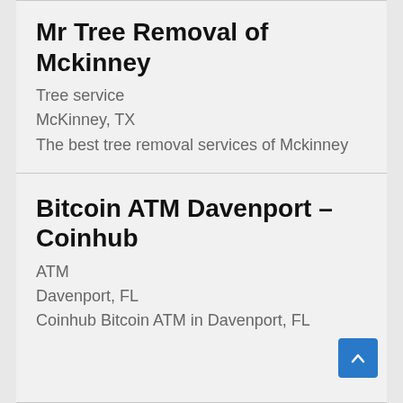Mr Tree Removal of Mckinney
Tree service
McKinney, TX
The best tree removal services of Mckinney
Bitcoin ATM Davenport – Coinhub
ATM
Davenport, FL
Coinhub Bitcoin ATM in Davenport, FL